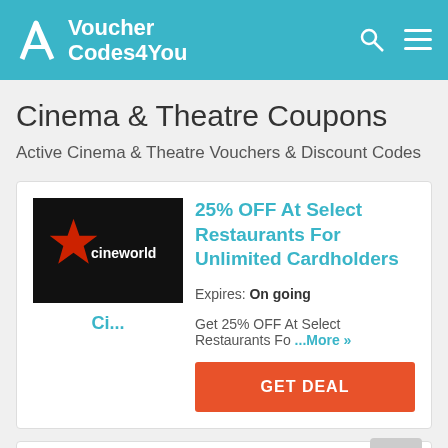VoucherCodes4You
Cinema & Theatre Coupons
Active Cinema & Theatre Vouchers & Discount Codes
[Figure (logo): Cineworld cinema logo - black background with red star and white text]
25% OFF At Select Restaurants For Unlimited Cardholders
Expires: On going
Get 25% OFF At Select Restaurants Fo ...More »
GET DEAL
Only From £17.99/month For